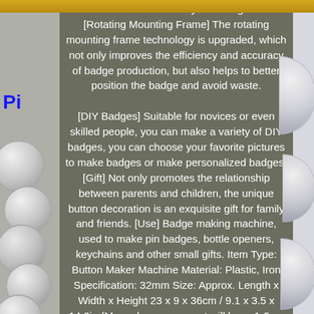children's hands on ability and imagination. [Rotating Mounting Frame] The rotating mounting frame technology is upgraded, which not only improves the efficiency and accuracy of badge production, but also helps to better position the badge and avoid waste. [DIY Badges] Suitable for novices or even skilled people, you can make a variety of DIY badges, you can choose your favorite pictures to make badges or make personalized badges. [Gift] Not only promotes the relationship between parents and children, the unique button decoration is an exquisite gift for family and friends. [Use] Badge making machine, used to make pin badges, bottle openers, keychains and other small gifts. Item Type: Button Maker Machine Material: Plastic, Iron Specification: 32mm Size: Approx. Length x Width x Height 23 x 9 x 36cm / 9.1 x 3.5 x 14.2in (Manual measurement will have 1-2cm error).
[Figure (photo): Left side strip showing metal button/badge circles stacked, with blue 'Pin' text label. Right side strip showing a metallic badge/button. Gold bars at top and sides.]